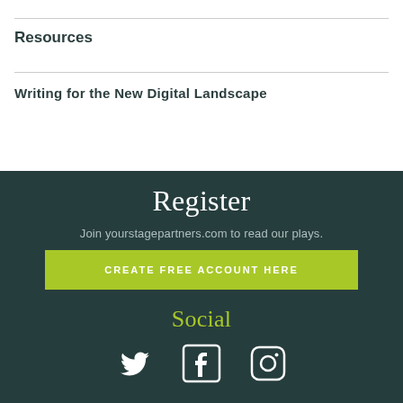Resources
Writing for the New Digital Landscape
Register
Join yourstagepartners.com to read our plays.
CREATE FREE ACCOUNT HERE
Social
[Figure (illustration): Social media icons: Twitter bird, Facebook f, Instagram camera]